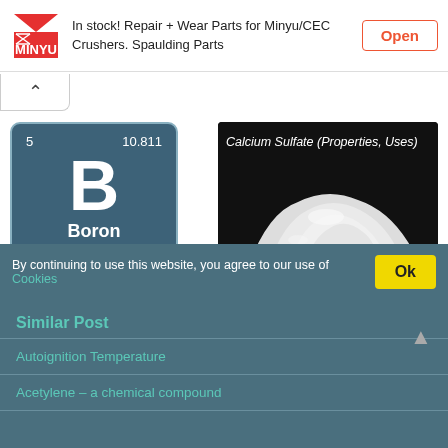[Figure (infographic): Advertisement banner with Minyu/CEC Crushers logo (red and white ZM MINYU), text 'In stock! Repair + Wear Parts for Minyu/CEC Crushers. Spaulding Parts', and a red-bordered 'Open' button]
[Figure (illustration): Boron periodic table tile: dark blue-grey square with rounded corners, showing atomic number 5, atomic weight 10.811, symbol B, name Boron, electron configuration [He] 2s2 2p1, Metalloid]
Boron – a Chemical Element
[Figure (photo): Calcium Sulfate powder pile on black background with text 'Calcium Sulfate (Properties, Uses)' in white and italic]
Calcium Sulfate (Properties, Uses)
By continuing to use this website, you agree to our use of Cookies
Similar Post
Autoignition Temperature
Acetylene – a chemical compound